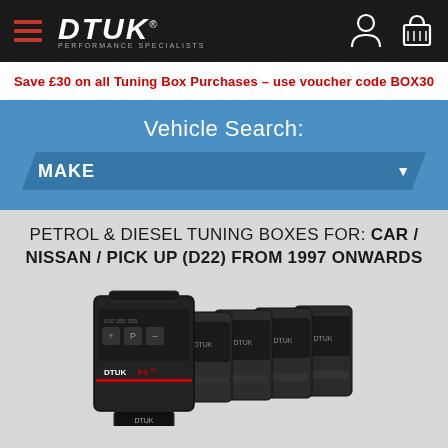DTUK PERFORMANCE SPECIALISTS
Save £30 on all Tuning Box Purchases - use voucher code BOX30
Vehicle Search:
MAKE
PETROL & DIESEL TUNING BOXES FOR: CAR / NISSAN / PICK UP (D22) FROM 1997 ONWARDS
[Figure (photo): Multiple DTUK tuning boxes arranged in a fan/cascade layout against a light grey background, showing several black electronic tuning box units with DTUK branding]